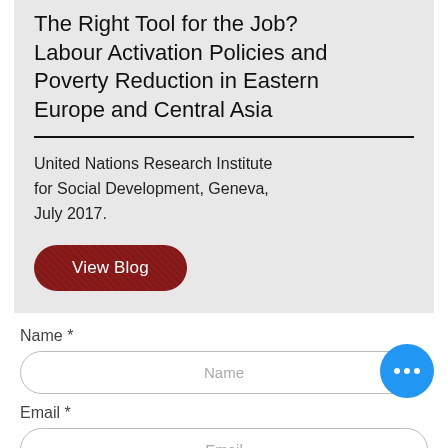The Right Tool for the Job? Labour Activation Policies and Poverty Reduction in Eastern Europe and Central Asia
United Nations Research Institute for Social Development, Geneva, July 2017.
[Figure (other): Red rounded button labeled 'View Blog']
Name *
Name
Email *
Email
Add a message *